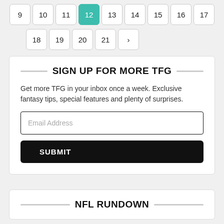[Figure (other): Calendar widget showing two rows of date cells. Top row: 9, 10, 11, 12 (highlighted teal), 13, 14, 15, 16, 17. Bottom row: 18, 19, 20, 21, > (next arrow).]
SIGN UP FOR MORE TFG
Get more TFG in your inbox once a week. Exclusive fantasy tips, special features and plenty of surprises.
Email Address
SUBMIT
NFL RUNDOWN